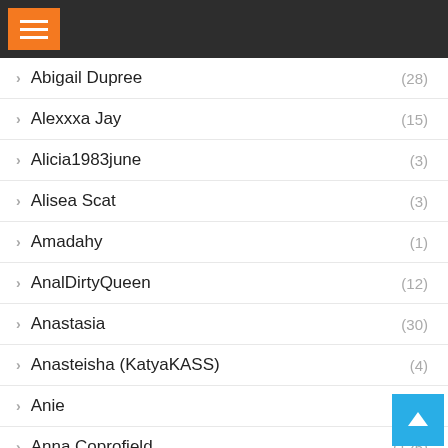Navigation menu header bar
Abigail Dupree (28)
Alexxxa Jay (15)
Alicia1983june (3)
Alisea Scat (3)
Amadahy (1)
AnalDirtyQueen (12)
Anastasia (30)
Anasteisha (KatyaKASS) (4)
Anie (5)
Anna Coprofield (125)
Anna Mistress (38)
Annalise (8)
Annika Rose (12)